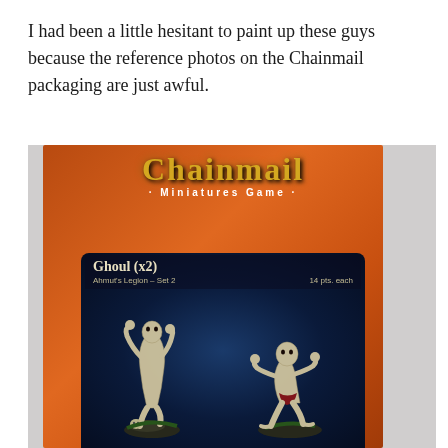I had been a little hesitant to paint up these guys because the reference photos on the Chainmail packaging are just awful.
[Figure (photo): Photo of a Chainmail Miniatures Game box showing Ghoul (x2) figures from Ahmut's Legion - Set 2, 14 pts. each. The box has an orange-brown border with the Chainmail logo in gold lettering, and shows two unpainted ghoul miniatures against a dark blue starfield background.]